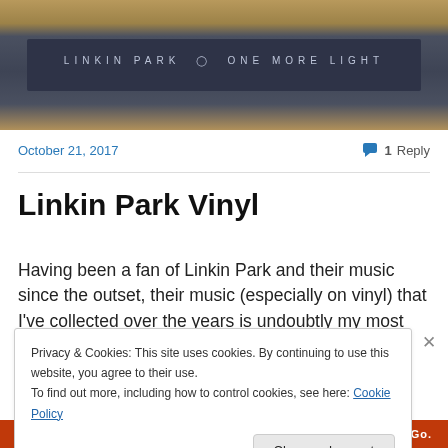[Figure (photo): Photo of a Linkin Park 'One More Light' vinyl record album spine/sleeve resting on a wooden surface, showing the album title text in grey/silver lettering on a dark navy background.]
October 21, 2017
1 Reply
Linkin Park Vinyl
Having been a fan of Linkin Park and their music since the outset, their music (especially on vinyl) that I've collected over the years is undoubtly my most treasured vinyl that I
Privacy & Cookies: This site uses cookies. By continuing to use this website, you agree to their use.
To find out more, including how to control cookies, see here: Cookie Policy
Close and accept